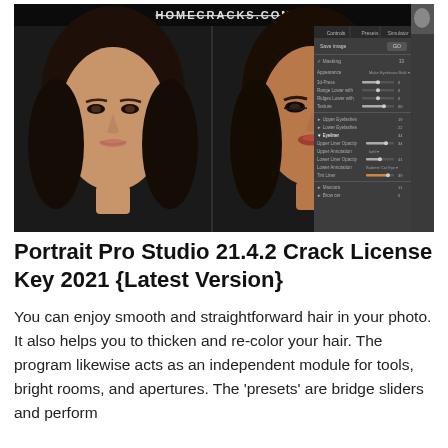[Figure (screenshot): Screenshot of Portrait Pro Studio software showing before/after comparison of a woman's face with editing panel on the right side, and HOMECRACKS.COM watermark at top]
Portrait Pro Studio 21.4.2 Crack License Key 2021 {Latest Version}
You can enjoy smooth and straightforward hair in your photo. It also helps you to thicken and re-color your hair. The program likewise acts as an independent module for tools, bright rooms, and apertures. The 'presets' are bridge sliders and perform